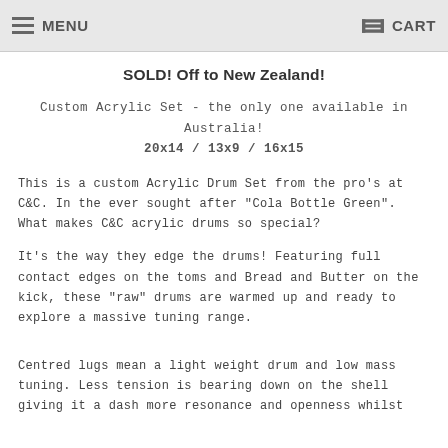MENU  CART
SOLD! Off to New Zealand!
Custom Acrylic Set - the only one available in Australia!
20x14 / 13x9 / 16x15
This is a custom Acrylic Drum Set from the pro's at C&C. In the ever sought after "Cola Bottle Green". What makes C&C acrylic drums so special?
It's the way they edge the drums! Featuring full contact edges on the toms and Bread and Butter on the kick, these "raw" drums are warmed up and ready to explore a massive tuning range.
Centred lugs mean a light weight drum and low mass tuning. Less tension is bearing down on the shell giving it a dash more resonance and openness whilst...